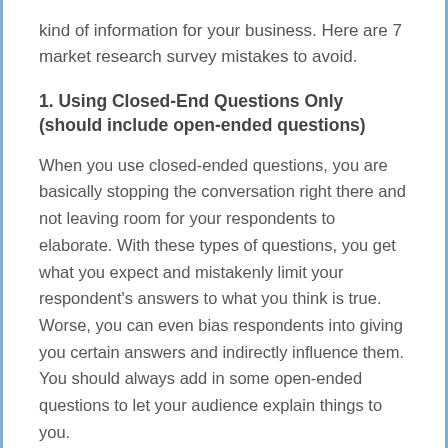kind of information for your business. Here are 7 market research survey mistakes to avoid.
1. Using Closed-End Questions Only (should include open-ended questions)
When you use closed-ended questions, you are basically stopping the conversation right there and not leaving room for your respondents to elaborate. With these types of questions, you get what you expect and mistakenly limit your respondent's answers to what you think is true. Worse, you can even bias respondents into giving you certain answers and indirectly influence them. You should always add in some open-ended questions to let your audience explain things to you.
2. Creating a Long Survey